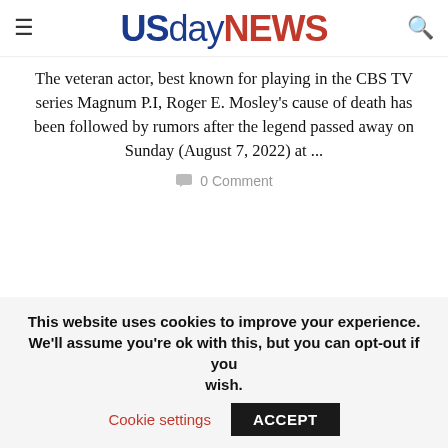USdayNEWS
The veteran actor, best known for playing in the CBS TV series Magnum P.I, Roger E. Mosley's cause of death has been followed by rumors after the legend passed away on Sunday (August 7, 2022) at ...
0 Comment
This website uses cookies to improve your experience. We'll assume you're ok with this, but you can opt-out if you wish. Cookie settings ACCEPT